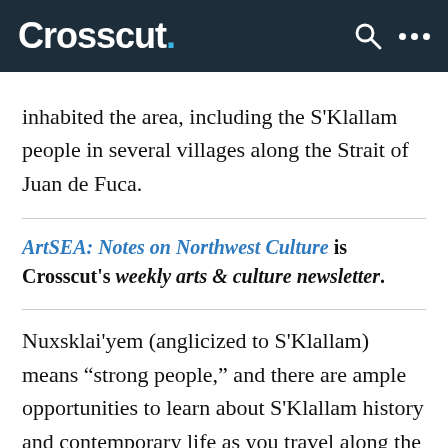Crosscut.
inhabited the area, including the S'Klallam people in several villages along the Strait of Juan de Fuca.
ArtSEA: Notes on Northwest Culture is Crosscut's weekly arts & culture newsletter.
Nuxsklai'yem (anglicized to S'Klallam) means “strong people,” and there are ample opportunities to learn about S'Klallam history and contemporary life as you travel along the peninsula in pursuit of art and